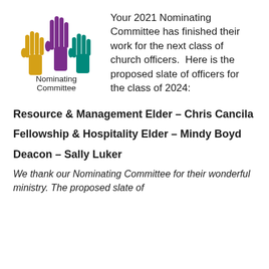[Figure (logo): Nominating Committee logo with three raised hands in gold, purple, and teal colors, with text 'Nominating Committee' beneath.]
Your 2021 Nominating Committee has finished their work for the next class of church officers.  Here is the proposed slate of officers for the class of 2024:
Resource & Management Elder – Chris Cancila
Fellowship & Hospitality Elder – Mindy Boyd
Deacon – Sally Luker
We thank our Nominating Committee for their wonderful ministry. The proposed slate of